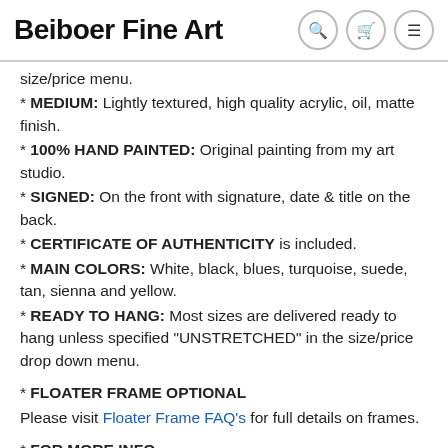Beiboer Fine Art
size/price menu.
* MEDIUM: Lightly textured, high quality acrylic, oil, matte finish.
* 100% HAND PAINTED: Original painting from my art studio.
* SIGNED: On the front with signature, date & title on the back.
* CERTIFICATE OF AUTHENTICITY is included.
* MAIN COLORS: White, black, blues, turquoise, suede, tan, sienna and yellow.
* READY TO HANG: Most sizes are delivered ready to hang unless specified "UNSTRETCHED" in the size/price drop down menu.
* FLOATER FRAME OPTIONAL
Please visit Floater Frame FAQ's for full details on frames.
* FOR MORE INFO
See tabs below for detailed information on custom art, turn